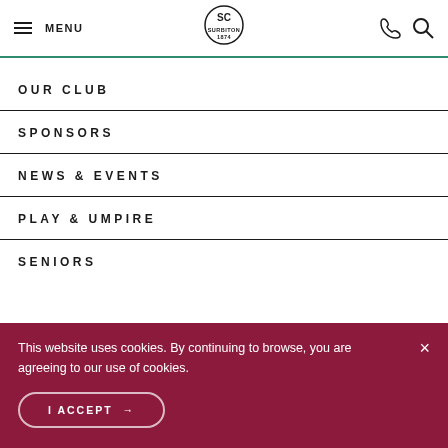MENU [logo: Surbiton 1874] [phone icon] [search icon]
OUR CLUB
SPONSORS
NEWS & EVENTS
PLAY & UMPIRE
SENIORS
This website uses cookies. By continuing to browse, you are agreeing to our use of cookies.
I ACCEPT →